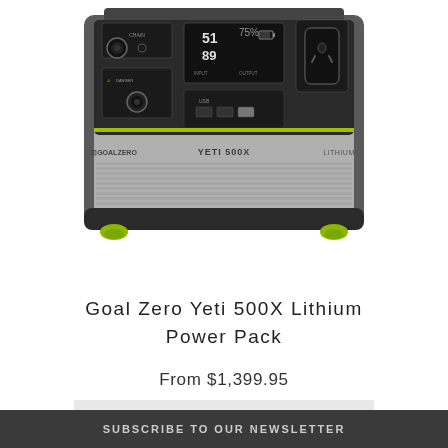[Figure (photo): Goal Zero Yeti 500X Lithium Power Pack device — a portable power station with black and gray casing, green accent feet, control panel with digital display showing battery levels, multiple output ports including USB and AC outlets, and Goal Zero / Yeti 500X / Lithium branding on the front.]
Goal Zero Yeti 500X Lithium Power Pack
From $1,399.95
SEE OPTIONS
SUBSCRIBE TO OUR NEWSLETTER